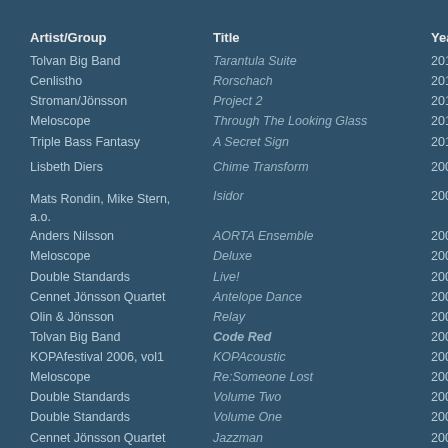| Artist/Group | Title | Year | L |
| --- | --- | --- | --- |
| Tolvan Big Band | Tarantula Suite | 2011 | K |
| Cenlistho | Rorschach | 2011 | K |
| Stroman/Jönsson | Project 2 | 2010 | K |
| Meloscope | Through The Looking Glass | 2010 | K |
| Triple Bass Fantasy | A Secret Sign | 2010 | K |
| Lisbeth Diers | Chime Transform | 2009 | S T |
| Mats Rondin, Mike Stern, a.o. | Isidor | 2009 | P |
| Anders Nilsson | AORTA Ensemble | 2009 | K |
| Meloscope | Deluxe | 2008 | K |
| Double Standards | Live! | 2008 | K |
| Cennet Jönsson Quartet | Antelope Dance | 2008 | K |
| Olin & Jönsson | Relay | 2007 | K |
| Tolvan Big Band | Code Red | 2007 | P |
| KOPAfestival 2006, vol1 | KOPAcoustic | 2007 | K |
| Meloscope | Re:Someone Lost | 2007 | K |
| Double Standards | Volume Two | 2006 | K |
| Double Standards | Volume One | 2005 | K |
| Cennet Jönsson Quartet | Jazzman | 2003 | K |
| Tolvan Big Band | A walk in the Centerpoint | 2003 | P |
| North by NorthWest | Billy Cobham presents… | 2001 | N P |
| The Crossover Ensemble | Helios Suite | 2000 | D |